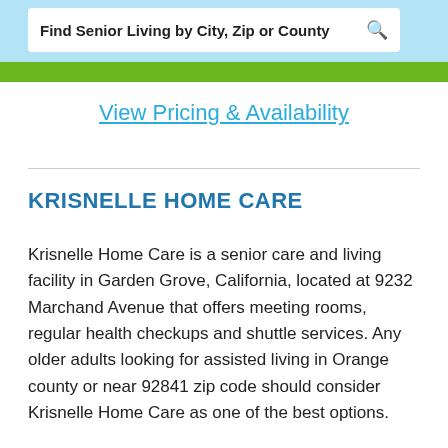Find Senior Living by City, Zip or County
View Pricing & Availability
KRISNELLE HOME CARE
Krisnelle Home Care is a senior care and living facility in Garden Grove, California, located at 9232 Marchand Avenue that offers meeting rooms, regular health checkups and shuttle services. Any older adults looking for assisted living in Orange county or near 92841 zip code should consider Krisnelle Home Care as one of the best options.